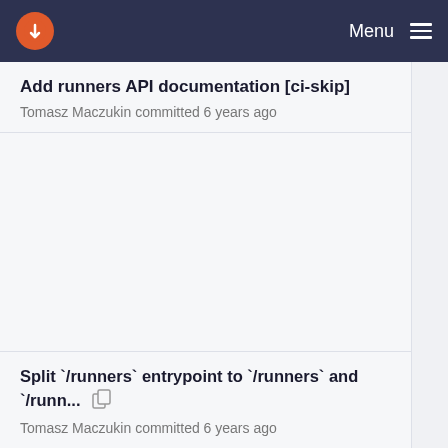Menu
Add runners API documentation [ci-skip]
Tomasz Maczukin committed 6 years ago
Split `/runners` entrypoint to `/runners` and `/runn...
Tomasz Maczukin committed 6 years ago